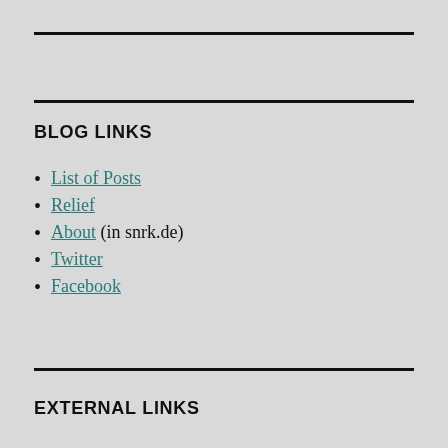BLOG LINKS
List of Posts
Relief
About (in snrk.de)
Twitter
Facebook
EXTERNAL LINKS